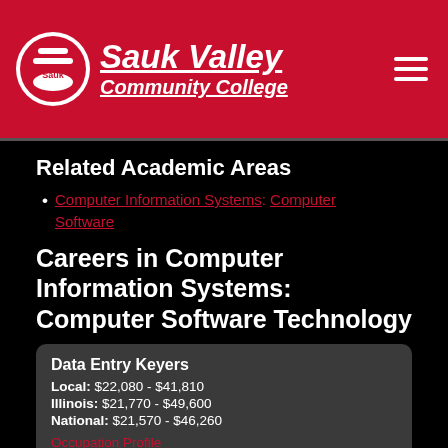[Figure (logo): Sauk Valley Community College header with logo, college name, and hamburger menu icon on red background]
Related Academic Areas
Computer Information Systems: Computer Software
Careers in Computer Information Systems: Computer Software Technology
Data Entry Keyers
Local: $22,080 - $41,810
Illinois: $21,770 - $49,600
National: $21,570 - $46,260
Occupation Profile
[Figure (logo): CareerOneStop logo with 'Powered By:' text, star and flag icon, and careeronestop text in blue]